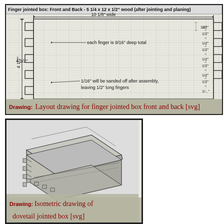[Figure (engineering-diagram): Layout drawing for finger jointed box front and back. Shows a rectangular wooden board 10 1/8 inch wide x 4 1/2 inch tall with finger joints on left and right sides. Grid background. Annotations: each finger is 9/16 inch deep total; 1/16 inch will be sanded off after assembly, leaving 1/2 inch long fingers. Right side shows 1/2 inch dimension markings for each finger. Title: Finger jointed box: Front and Back - 5 1/4 x 12 x 1/2 wood (after jointing and planing)]
Drawing: Layout drawing for finger jointed box front and back [svg]
[Figure (engineering-diagram): Isometric drawing of a dovetail jointed box, showing 3D view with lid slightly open, finger/dovetail joints visible on the front left corner, and box body with rectangular panels.]
Drawing: Isometric drawing of dovetail jointed box [svg]